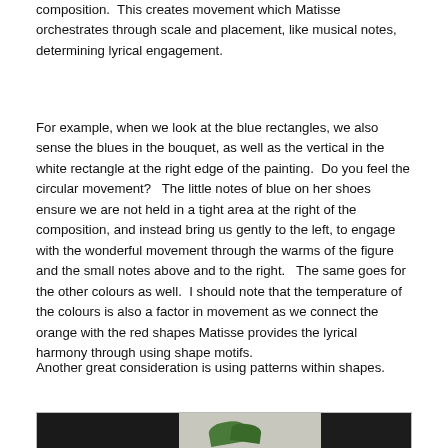composition.  This creates movement which Matisse orchestrates through scale and placement, like musical notes, determining lyrical engagement.
For example, when we look at the blue rectangles, we also sense the blues in the bouquet, as well as the vertical in the white rectangle at the right edge of the painting.  Do you feel the circular movement?  The little notes of blue on her shoes ensure we are not held in a tight area at the right of the composition, and instead bring us gently to the left, to engage with the wonderful movement through the warms of the figure and the small notes above and to the right.  The same goes for the other colours as well.  I should note that the temperature of the colours is also a factor in movement as we connect the orange with the red shapes Matisse provides the lyrical harmony through using shape motifs.
Another great consideration is using patterns within shapes.
[Figure (photo): Partial view of a painting showing dark areas on left and right with a light center section and green leaf/plant shapes visible in the middle portion.]